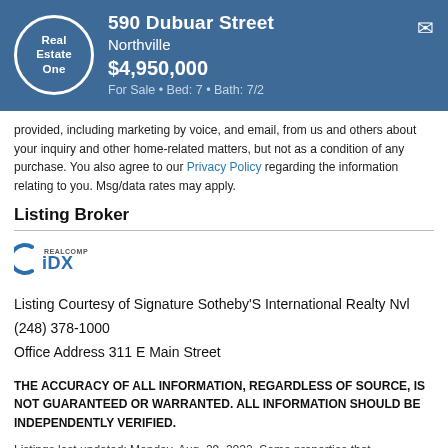590 Dubuar Street, Northville, $4,950,000, For Sale • Bed: 7 • Bath: 7/2
provided, including marketing by voice, and email, from us and others about your inquiry and other home-related matters, but not as a condition of any purchase. You also agree to our Privacy Policy regarding the information relating to you. Msg/data rates may apply.
Listing Broker
[Figure (logo): Realcomp IDX logo]
Listing Courtesy of Signature Sotheby'S International Realty Nvl
(248) 378-1000
Office Address 311 E Main Street
THE ACCURACY OF ALL INFORMATION, REGARDLESS OF SOURCE, IS NOT GUARANTEED OR WARRANTED. ALL INFORMATION SHOULD BE INDEPENDENTLY VERIFIED.
Listings last updated: Monday, Aug. 29, 2022. Some properties that